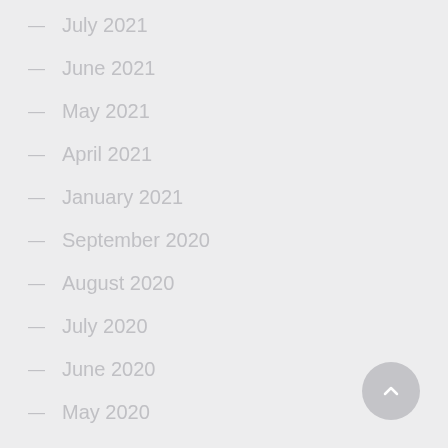July 2021
June 2021
May 2021
April 2021
January 2021
September 2020
August 2020
July 2020
June 2020
May 2020
January 2020
October 2019